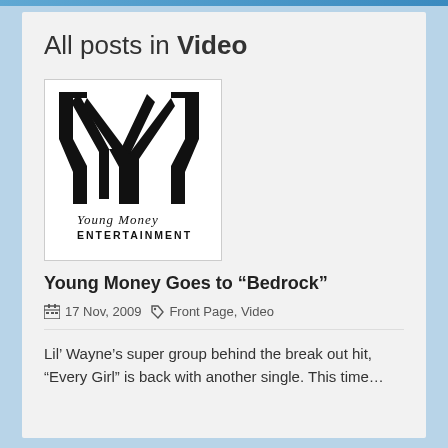All posts in Video
[Figure (logo): Young Money Entertainment logo — stylized YM monogram in black with 'Young Money ENTERTAINMENT' text below]
Young Money Goes to “Bedrock”
17 Nov, 2009  Front Page, Video
Lil’ Wayne’s super group behind the break out hit, “Every Girl” is back with another single. This time…